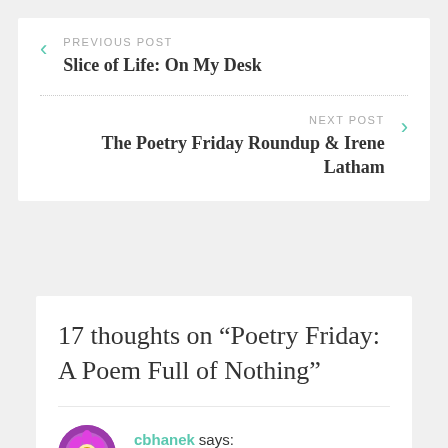PREVIOUS POST
Slice of Life: On My Desk
NEXT POST
The Poetry Friday Roundup & Irene Latham
17 thoughts on “Poetry Friday: A Poem Full of Nothing”
cbhanek says:
JANUARY 21, 2016 AT 11:34 PM